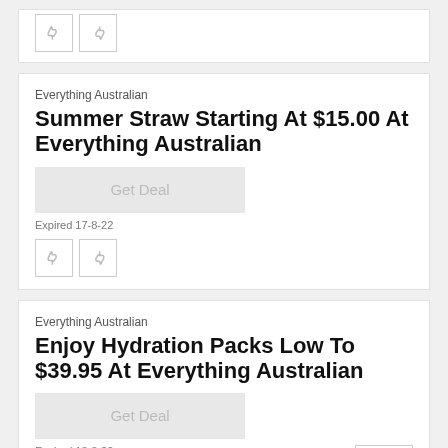[Figure (other): Partial card showing thumbs down and thumbs up icons at top of page]
Everything Australian
Summer Straw Starting At $15.00 At Everything Australian
Get Deal
Expired 17-8-22
[Figure (other): Thumbs down and thumbs up icon buttons]
Everything Australian
Enjoy Hydration Packs Low To $39.95 At Everything Australian
Get Deal
Expired 18-8-22
[Figure (other): Thumbs down and thumbs up icon buttons, plus up arrow scroll-to-top button]